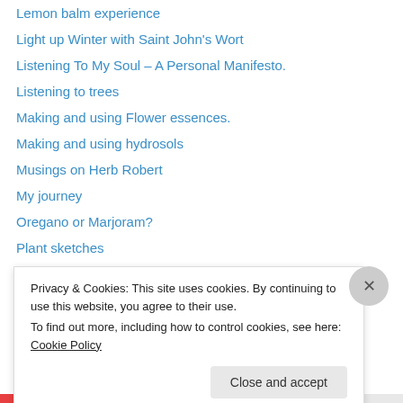Lemon balm experience
Light up Winter with Saint John's Wort
Listening To My Soul – A Personal Manifesto.
Listening to trees
Making and using Flower essences.
Making and using hydrosols
Musings on Herb Robert
My journey
Oregano or Marjoram?
Plant sketches
Poem 'Healing'
Poem 'Love is'
Poem 'To Gaia'
Privacy & Cookies: This site uses cookies. By continuing to use this website, you agree to their use.
To find out more, including how to control cookies, see here: Cookie Policy